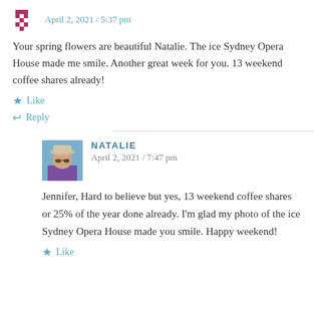April 2, 2021 / 5:37 pm
Your spring flowers are beautiful Natalie. The ice Sydney Opera House made me smile. Another great week for you. 13 weekend coffee shares already!
★ Like
↩ Reply
NATALIE
April 2, 2021 / 7:47 pm
Jennifer, Hard to believe but yes, 13 weekend coffee shares or 25% of the year done already. I'm glad my photo of the ice Sydney Opera House made you smile. Happy weekend!
★ Like